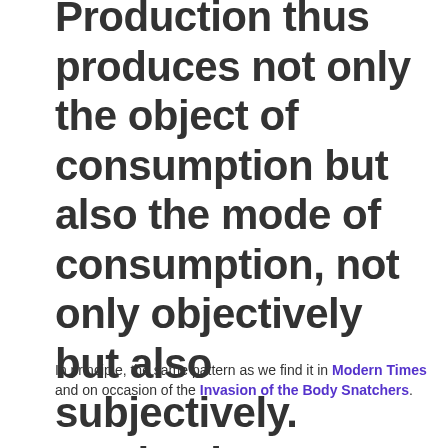Production thus produces not only the object of consumption but also the mode of consumption, not only objectively but also subjectively. Production therefore creates the consumer.
In principle, the same pattern as we find it in Modern Times and on occasion of the Invasion of the Body Snatchers.